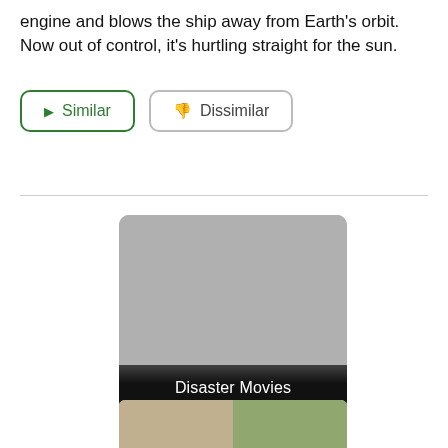engine and blows the ship away from Earth's orbit. Now out of control, it's hurtling straight for the sun.
[Figure (screenshot): Two buttons: a green-outlined 'Similar' button with a play arrow icon, and a grey-outlined 'Dissimilar' button with a thumbs-down icon]
[Figure (photo): A movie category card showing 'Disaster Movies' label over a grey placeholder image with rounded corners]
[Figure (photo): Partial photo strip at bottom showing two people outdoors]